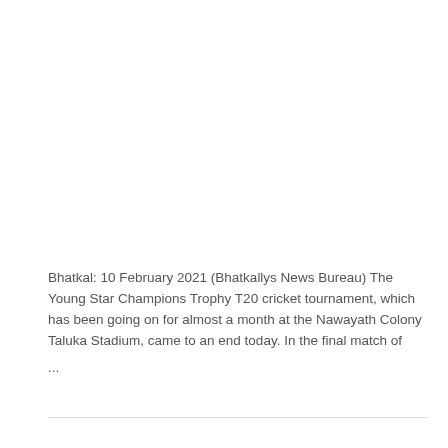Bhatkal: 10 February 2021 (Bhatkallys News Bureau) The Young Star Champions Trophy T20 cricket tournament, which has been going on for almost a month at the Nawayath Colony Taluka Stadium, came to an end today. In the final match of ...
Read More »